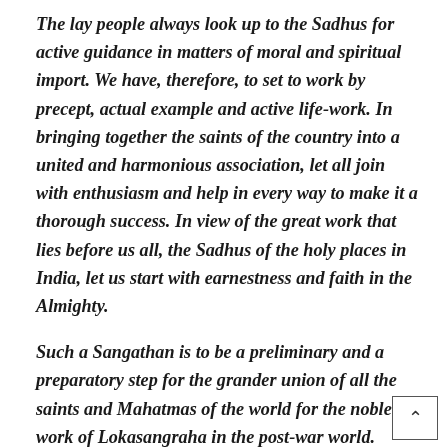The lay people always look up to the Sadhus for active guidance in matters of moral and spiritual import. We have, therefore, to set to work by precept, actual example and active life-work. In bringing together the saints of the country into a united and harmonious association, let all join with enthusiasm and help in every way to make it a thorough success. In view of the great work that lies before us all, the Sadhus of the holy places in India, let us start with earnestness and faith in the Almighty.
Such a Sangathan is to be a preliminary and a preparatory step for the grander union of all the saints and Mahatmas of the world for the noble work of Lokasangraha in the post-war world. India is to be made the glorious Bharatavarsha of King Bharata once again and she will be the Spiritual Mother of the